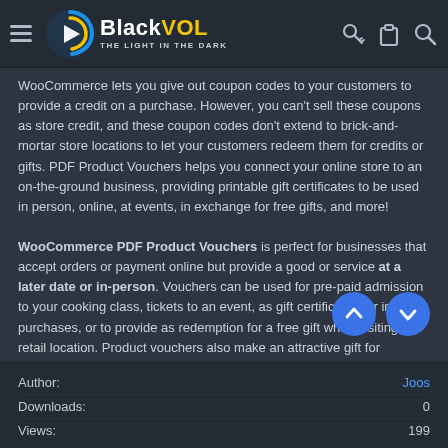BlackVOL - THE LIGHT IN THE DARK
WooCommerce lets you give out coupon codes to your customers to provide a credit on a purchase. However, you can't sell these coupons as store credit, and these coupon codes don't extend to brick-and-mortar store locations to let your customers redeem them for credits or gifts. PDF Product Vouchers helps you connect your online store to an on-the-ground business, providing printable gift certificates to be used in person, online, at events, in exchange for free gifts, and more!
WooCommerce PDF Product Vouchers is perfect for businesses that accept orders or payment online but provide a good or service at a later date or in-person. Vouchers can be used for pre-paid admission to your cooking class, tickets to an event, as gift certificates for in-store purchases, or to provide as redemption for a free gift when visiting a retail location. Product vouchers also make an attractive gift for customers to purchase for their friends and family, and can be personalized with a recipient name and message.
Author: Joos | Downloads: 0 | Views: 199